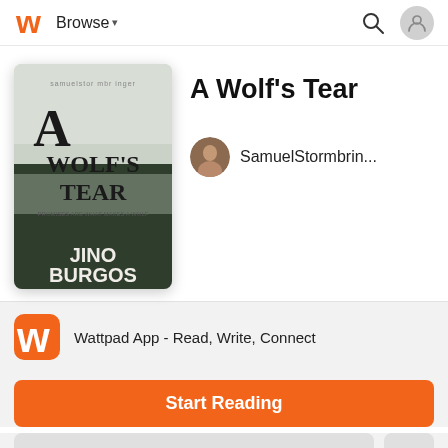Browse
[Figure (illustration): Book cover for 'A Wolf's Tear' by Jino Burgos. Shows a dark forest with fog and trees, title text 'A WOLF'S TEAR' in large letters, subtitle 'PROMISES ARE WHAT MAKES A WOLF', author name 'JINO BURGOS' at bottom.]
A Wolf's Tear
SamuelStormbrin...
Wattpad App - Read, Write, Connect
Start Reading
Log in with Browser